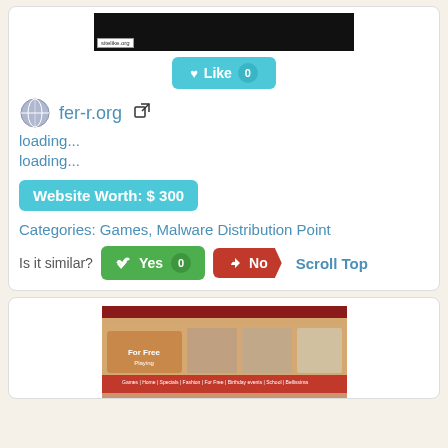[Figure (screenshot): Dark screenshot of a website with sitelike.org watermark label]
[Figure (other): Like button with heart icon and count badge showing 0]
fer-r.org (with globe icon and external link icon)
loading...
loading...
Website Worth: $ 300
Categories: Games, Malware Distribution Point
Is it similar? Yes 0  No  Scroll Top
[Figure (screenshot): Screenshot of a gaming website with red navigation bar and colorful content]